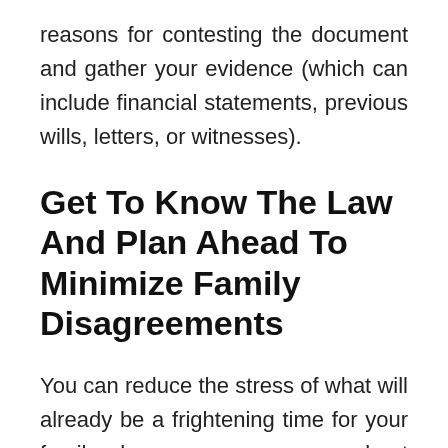reasons for contesting the document and gather your evidence (which can include financial statements, previous wills, letters, or witnesses).
Get To Know The Law And Plan Ahead To Minimize Family Disagreements
You can reduce the stress of what will already be a frightening time for your family when someone you care about dies by thinking ahead. Help your elderly family members with the end of life planning when they're of sound